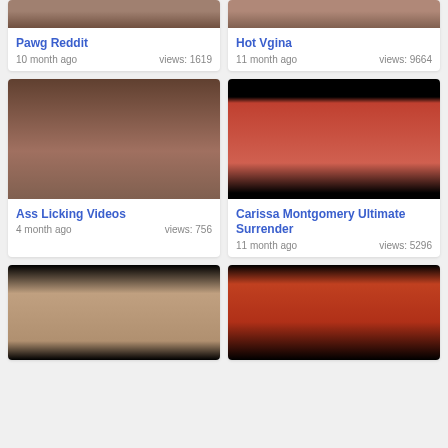[Figure (photo): Partial thumbnail top - Pawg Reddit]
Pawg Reddit
10 month ago    views: 1619
[Figure (photo): Partial thumbnail top - Hot Vgina]
Hot Vgina
11 month ago    views: 9664
[Figure (photo): Thumbnail - Ass Licking Videos]
Ass Licking Videos
4 month ago    views: 756
[Figure (photo): Thumbnail - Carissa Montgomery Ultimate Surrender]
Carissa Montgomery Ultimate Surrender
11 month ago    views: 5296
[Figure (photo): Partial thumbnail bottom left - woman with earring]
[Figure (photo): Partial thumbnail bottom right - woman in red outfit]